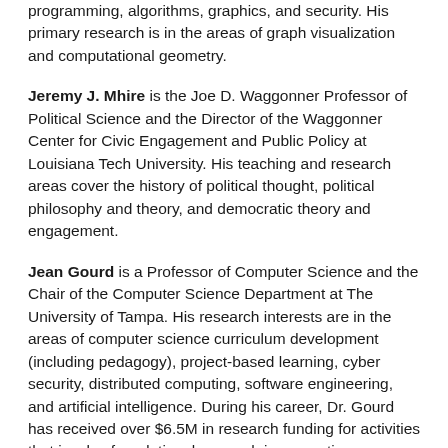programming, algorithms, graphics, and security. His primary research is in the areas of graph visualization and computational geometry.
Jeremy J. Mhire is the Joe D. Waggonner Professor of Political Science and the Director of the Waggonner Center for Civic Engagement and Public Policy at Louisiana Tech University. His teaching and research areas cover the history of political thought, political philosophy and theory, and democratic theory and engagement.
Jean Gourd is a Professor of Computer Science and the Chair of the Computer Science Department at The University of Tampa. His research interests are in the areas of computer science curriculum development (including pedagogy), project-based learning, cyber security, distributed computing, software engineering, and artificial intelligence. During his career, Dr. Gourd has received over $6.5M in research funding for activities that involve foundational research in computing,